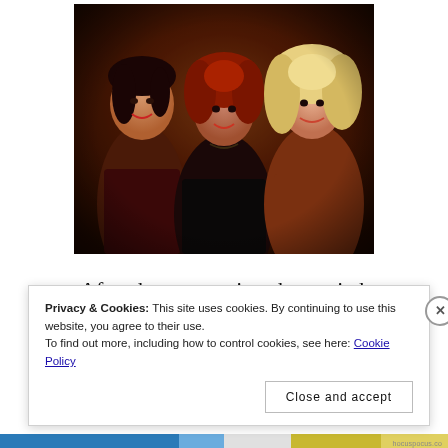[Figure (photo): Three women dressed as witch sisters in Halloween costumes, posed together against a dark background. The image appears to be from the movie Hocus Pocus.]
After three centuries, three witch sisters are resurrected in Salem, Massachusetts on Halloween night, and it is up
Privacy & Cookies: This site uses cookies. By continuing to use this website, you agree to their use.
To find out more, including how to control cookies, see here: Cookie Policy